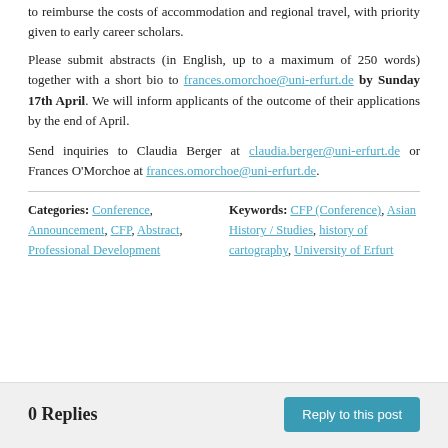to reimburse the costs of accommodation and regional travel, with priority given to early career scholars.
Please submit abstracts (in English, up to a maximum of 250 words) together with a short bio to frances.omorchoe@uni-erfurt.de by Sunday 17th April. We will inform applicants of the outcome of their applications by the end of April.
Send inquiries to Claudia Berger at claudia.berger@uni-erfurt.de or Frances O'Morchoe at frances.omorchoe@uni-erfurt.de.
Categories: Conference, Announcement, CFP, Abstract, Professional Development
Keywords: CFP (Conference), Asian History / Studies, history of cartography, University of Erfurt
0 Replies
Reply to this post